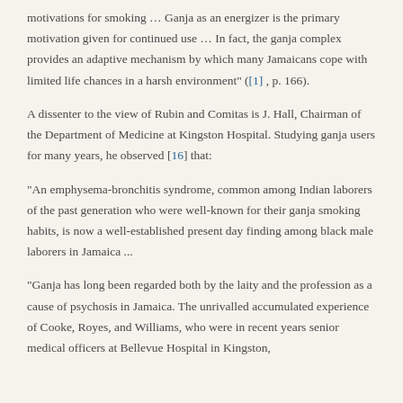motivations for smoking … Ganja as an energizer is the primary motivation given for continued use … In fact, the ganja complex provides an adaptive mechanism by which many Jamaicans cope with limited life chances in a harsh environment" ([1] , p. 166).
A dissenter to the view of Rubin and Comitas is J. Hall, Chairman of the Department of Medicine at Kingston Hospital. Studying ganja users for many years, he observed [16] that:
“An emphysema-bronchitis syndrome, common among Indian laborers of the past generation who were well-known for their ganja smoking habits, is now a well-established present day finding among black male laborers in Jamaica ...
“Ganja has long been regarded both by the laity and the profession as a cause of psychosis in Jamaica. The unrivalled accumulated experience of Cooke, Royes, and Williams, who were in recent years senior medical officers at Bellevue Hospital in Kingston,